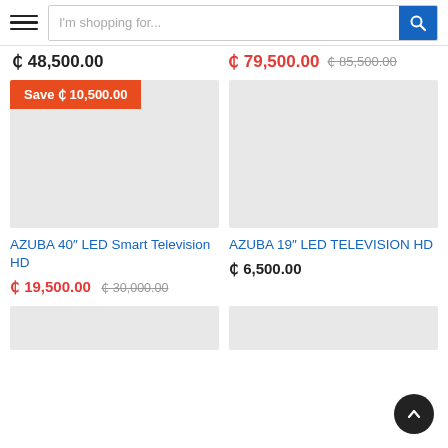[Figure (screenshot): E-commerce website header with hamburger menu and search bar reading 'I'm shopping for...' with a blue search button]
₵ 48,500.00
₵ 79,500.00  ₵ 85,500.00
[Figure (photo): Product image placeholder with orange Save badge reading 'Save ₵ 10,500.00']
[Figure (photo): Product image placeholder for AZUBA 19 inch LED TV]
AZUBA 40″ LED Smart Television HD
AZUBA 19″ LED TELEVISION HD
₵ 19,500.00  ₵ 30,000.00
₵ 6,500.00
[Figure (photo): Partial product image placeholder bottom left]
[Figure (photo): Partial product image placeholder bottom right]